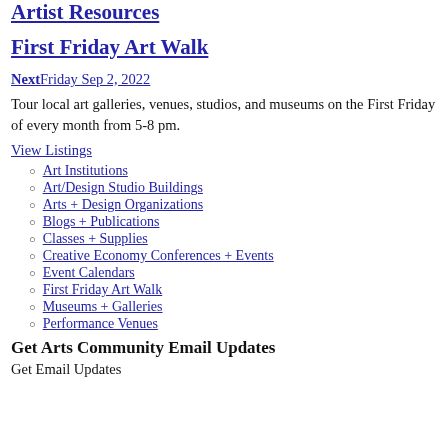Artist Resources
First Friday Art Walk
NextFriday Sep 2, 2022
Tour local art galleries, venues, studios, and museums on the First Friday of every month from 5-8 pm.
View Listings
Art Institutions
Art/Design Studio Buildings
Arts + Design Organizations
Blogs + Publications
Classes + Supplies
Creative Economy Conferences + Events
Event Calendars
First Friday Art Walk
Museums + Galleries
Performance Venues
Get Arts Community Email Updates
Get Email Updates